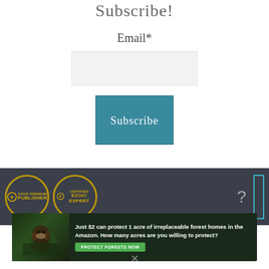Subscribe!
Email*
[Figure (screenshot): Email input text field box, light gray background]
[Figure (screenshot): Teal Subscribe button]
[Figure (infographic): Dark footer bar with Ezoic Premium Publisher badge, Certified Ezoic Expert badge, question mark icon, and teal outline rectangle]
[Figure (screenshot): Advertisement banner: Just $2 can protect 1 acre of irreplaceable forest homes in the Amazon. How many acres are you willing to protect? PROTECT FORESTS NOW]